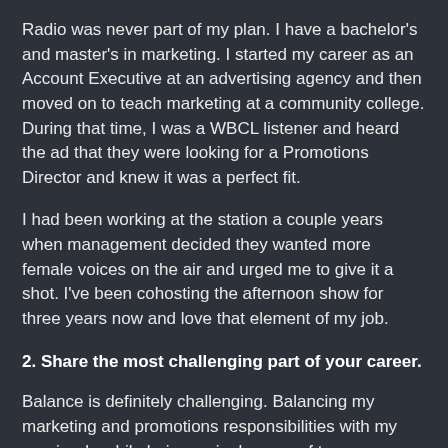Radio was never part of my plan. I have a bachelor's and master's in marketing. I started my career as an Account Executive at an advertising agency and then moved on to teach marketing at a community college. During that time, I was a WBCL listener and heard the ad that they were looking for a Promotions Director and knew it was a perfect fit.
I had been working at the station a couple years when management decided they wanted more female voices on the air and urged me to give it a shot. I've been cohosting the afternoon show for three years now and love that element of my job.
2. Share the most challenging part of your career.
Balance is definitely challenging. Balancing my marketing and promotions responsibilities with my on-air role while being a single mom of two young boys is difficult at times. Most days the studio is a revolving door of people popping into to ask promotions questions between our talk breaks.